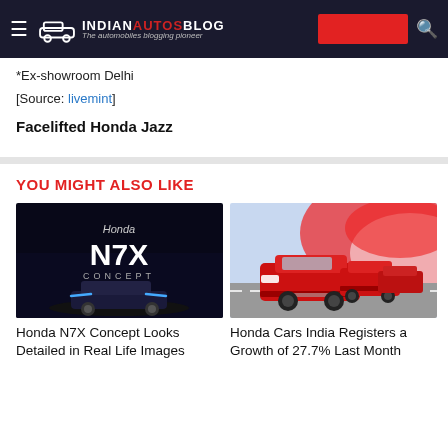IndianAutosBlog - The automobiles blogging pioneer
*Ex-showroom Delhi
[Source: livemint]
Facelifted Honda Jazz
YOU MIGHT ALSO LIKE
[Figure (photo): Honda N7X Concept car display with dark background and blue LED lights]
Honda N7X Concept Looks Detailed in Real Life Images
[Figure (photo): Honda Cars India red cars driving on a track with red and white swirl background]
Honda Cars India Registers a Growth of 27.7% Last Month